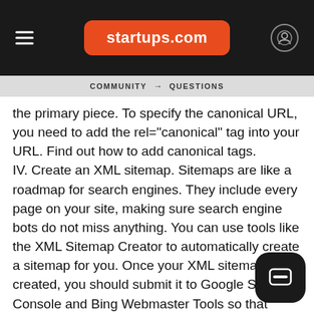startups.com
COMMUNITY → QUESTIONS
the primary piece. To specify the canonical URL, you need to add the rel="canonical" tag into your URL. Find out how to add canonical tags.
IV. Create an XML sitemap. Sitemaps are like a roadmap for search engines. They include every page on your site, making sure search engine bots do not miss anything. You can use tools like the XML Sitemap Creator to automatically create a sitemap for you. Once your XML sitemap is created, you should submit it to Google Search Console and Bing Webmaster Tools so that search engines can crawl and index your website more easily.
The title tags: Each of your web pages needs to have a unique title tag that describes what that page is about. Pay attention to the title tag because its what people see in search engine results when they are